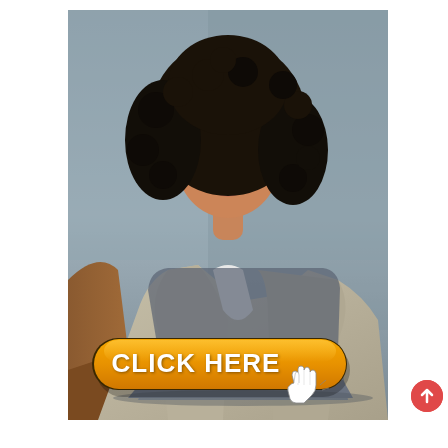[Figure (photo): A young woman with curly dark hair wearing a light beige/khaki blazer over a white top, sitting with a MacBook laptop in front of her, looking directly at the camera. Background is a muted blue-grey. An orange 'CLICK HERE' button with a hand cursor icon is overlaid on the lower portion of the image.]